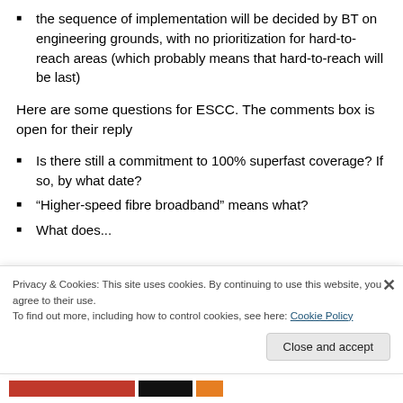the sequence of implementation will be decided by BT on engineering grounds, with no prioritization for hard-to-reach areas (which probably means that hard-to-reach will be last)
Here are some questions for ESCC. The comments box is open for their reply
Is there still a commitment to 100% superfast coverage? If so, by what date?
“Higher-speed fibre broadband” means what?
What does... (partially visible)